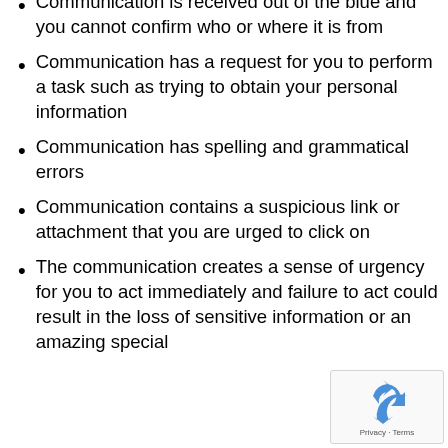Communication is received out of the blue and you cannot confirm who or where it is from
Communication has a request for you to perform a task such as trying to obtain your personal information
Communication has spelling and grammatical errors
Communication contains a suspicious link or attachment that you are urged to click on
The communication creates a sense of urgency for you to act immediately and failure to act could result in the loss of sensitive information or an amazing special
[Figure (logo): reCAPTCHA widget with recycling arrows logo and Privacy - Terms text]